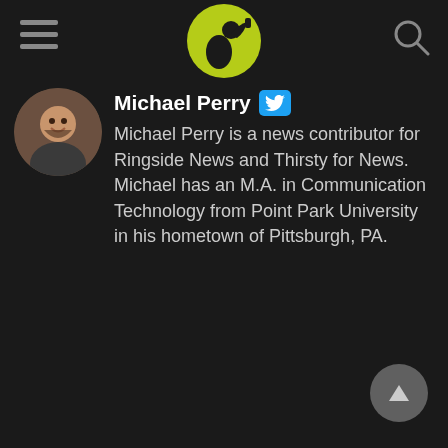[Figure (logo): Thirsty for News logo — yellow-green circle with silhouette of person drinking]
[Figure (illustration): Hamburger menu icon (three horizontal lines) on left side of header]
[Figure (illustration): Search (magnifying glass) icon on right side of header]
[Figure (photo): Circular profile photo of Michael Perry, a man smiling]
Michael Perry
Michael Perry is a news contributor for Ringside News and Thirsty for News. Michael has an M.A. in Communication Technology from Point Park University in his hometown of Pittsburgh, PA.